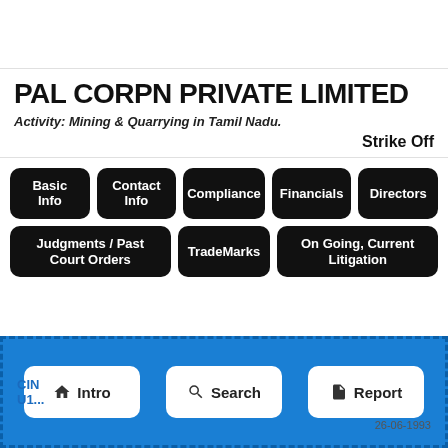PAL CORPN PRIVATE LIMITED
Activity: Mining & Quarrying in Tamil Nadu.
Strike Off
[Figure (screenshot): Navigation buttons: Basic Info, Contact Info, Compliance, Financials, Directors, Judgments / Past Court Orders, TradeMarks, On Going Current Litigation]
[Figure (screenshot): Bottom navigation bar with Intro, Search, and Report buttons on blue background]
CIN
U1...
26-06-1993